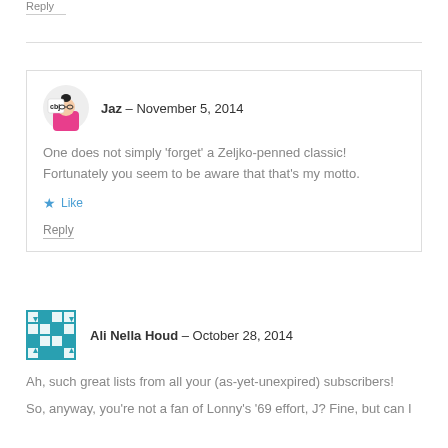Reply
Jaz – November 5, 2014
One does not simply 'forget' a Zeljko-penned classic! Fortunately you seem to be aware that that's my motto.
Like
Reply
[Figure (illustration): Avatar of Ali Nella Houd — teal/white geometric pattern square icon]
Ali Nella Houd – October 28, 2014
Ah, such great lists from all your (as-yet-unexpired) subscribers!
So, anyway, you're not a fan of Lonny's '69 effort, J? Fine, but can I